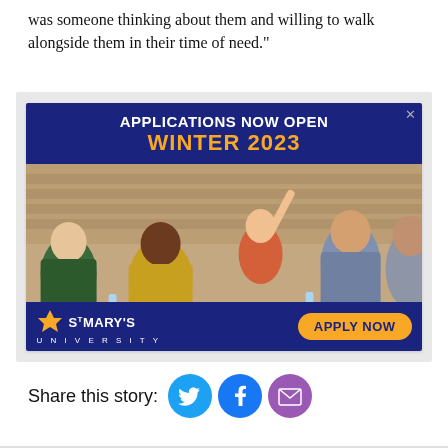was someone thinking about them and willing to walk alongside them in their time of need."
[Figure (other): St Mary's University advertisement banner. Blue background with white text 'APPLICATIONS NOW OPEN' and gold text 'WINTER 2023'. Below is a photo of university students in a classroom/lecture hall setting. Bottom strip shows St Mary's University logo in white and an 'APPLY NOW' button in gold.]
Share this story: